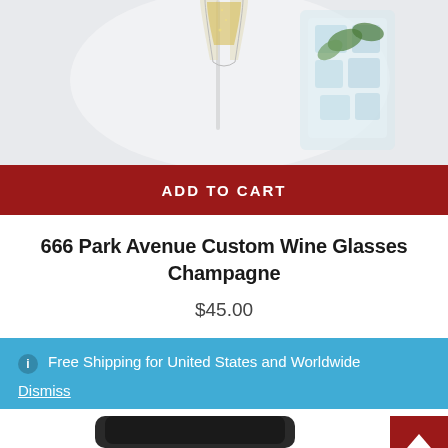[Figure (photo): Partial product photo showing a champagne flute with golden liquid and a glass with ice and green leaves on a light background]
ADD TO CART
666 Park Avenue Custom Wine Glasses Champagne
$45.00
Free Shipping for United States and Worldwide
Dismiss
[Figure (photo): Partial view of a second product — a dark/black glass or mug, visible from the top edge at the bottom of the page]